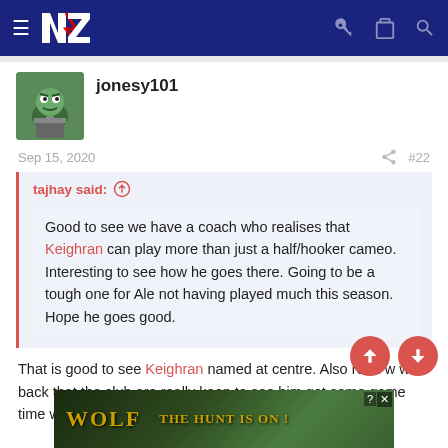NZ Warriors forum navigation bar with hamburger menu, NZ logo, key icon, clipboard icon, search icon
jonesy101
Sep 15, 2020   #22
tajhay said: ↑
Good to see we have a coach who realises that Keighran can play more than just a half/hooker cameo. Interesting to see how he goes there. Going to be a tough one for Ale not having played much this season. Hope he goes good.
That is good to see Keighran named at centre. Also read w w s back that the club are really keen to see him get some game time with
[Figure (screenshot): Wolf game advertisement banner: 'WOLF — THE HUNT IS ON!' with wolves in a forest background]